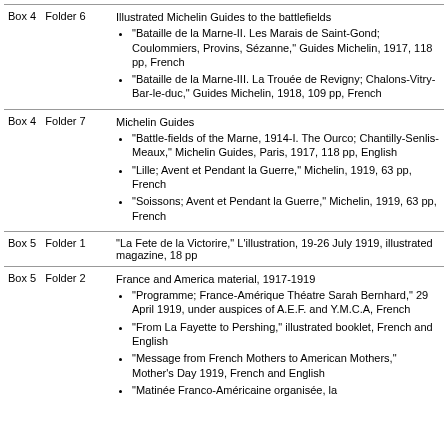| Box/Folder | Contents |
| --- | --- |
| Box 4  Folder 6 | Illustrated Michelin Guides to the battlefields
• "Bataille de la Marne-II. Les Marais de Saint-Gond; Coulommiers, Provins, Sézanne," Guides Michelin, 1917, 118 pp, French
• "Bataille de la Marne-III. La Trouée de Revigny; Chalons-Vitry-Bar-le-duc," Guides Michelin, 1918, 109 pp, French |
| Box 4  Folder 7 | Michelin Guides
• "Battle-fields of the Marne, 1914-I. The Ourco; Chantilly-Senlis-Meaux," Michelin Guides, Paris, 1917, 118 pp, English
• "Lille; Avent et Pendant la Guerre," Michelin, 1919, 63 pp, French
• "Soissons; Avent et Pendant la Guerre," Michelin, 1919, 63 pp, French |
| Box 5  Folder 1 | "La Fete de la Victorire," L'illustration, 19-26 July 1919, illustrated magazine, 18 pp |
| Box 5  Folder 2 | France and America material, 1917-1919
• "Programme; France-Amérique Théatre Sarah Bernhard," 29 April 1919, under auspices of A.E.F. and Y.M.C.A, French
• "From La Fayette to Pershing," illustrated booklet, French and English
• "Message from French Mothers to American Mothers," Mother's Day 1919, French and English
• "Matinée Franco-Américaine organisée, la |